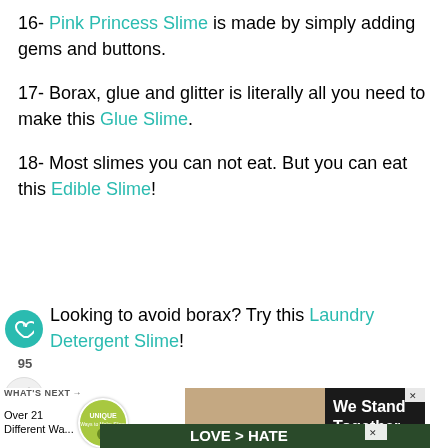16- Pink Princess Slime is made by simply adding gems and buttons.
17- Borax, glue and glitter is literally all you need to make this Glue Slime.
18- Most slimes you can not eat. But you can eat this Edible Slime!
Looking to avoid borax? Try this Laundry Detergent Slime!
[Figure (screenshot): What's Next promo with circular thumbnail and 'Over 21 Different Wa...' text, alongside two advertisement banners: 'We Stand Together' with group photo, and 'LOVE > HATE' with heart hands photo.]